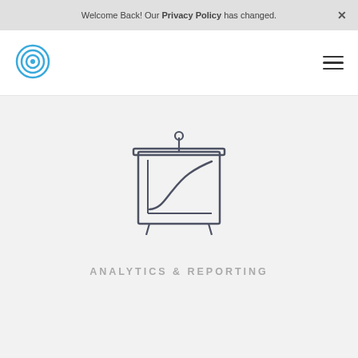Welcome Back! Our Privacy Policy has changed.
[Figure (logo): Concentric circles logo in blue]
[Figure (illustration): Analytics and reporting icon: a presentation board with a line chart showing an upward curve, on a pole with a small circle at the top]
ANALYTICS & REPORTING